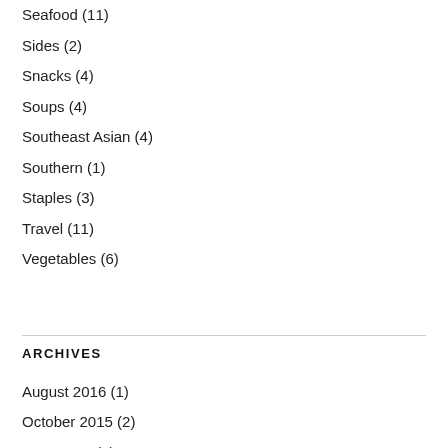Seafood (11)
Sides (2)
Snacks (4)
Soups (4)
Southeast Asian (4)
Southern (1)
Staples (3)
Travel (11)
Vegetables (6)
ARCHIVES
August 2016 (1)
October 2015 (2)
June 2015 (1)